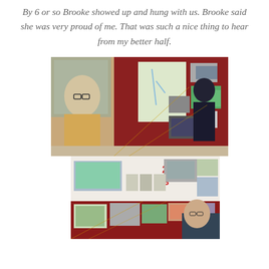By 6 or so Brooke showed up and hung with us. Brooke said she was very proud of me. That was such a nice thing to hear from my better half.
[Figure (photo): A young man in a yellow t-shirt with glasses stands in front of a display board covered with photographs and a map on a dark red/brown background. Another person stands to the right viewing the board.]
[Figure (photo): A close-up view of a display board showing photographs, numbered labels (2, 3), printed images of landscapes and groups, and a red board below with more photos. A person with glasses is partially visible on the right side.]